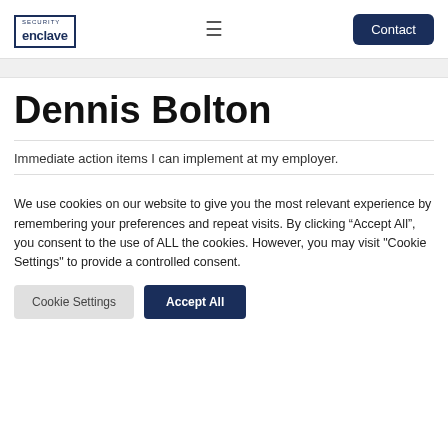[Figure (logo): Security Enclave logo in a bordered box with 'SECURITY' above 'enclave' text in dark navy blue]
Contact
Dennis Bolton
Immediate action items I can implement at my employer.
We use cookies on our website to give you the most relevant experience by remembering your preferences and repeat visits. By clicking “Accept All”, you consent to the use of ALL the cookies. However, you may visit "Cookie Settings" to provide a controlled consent.
Cookie Settings | Accept All